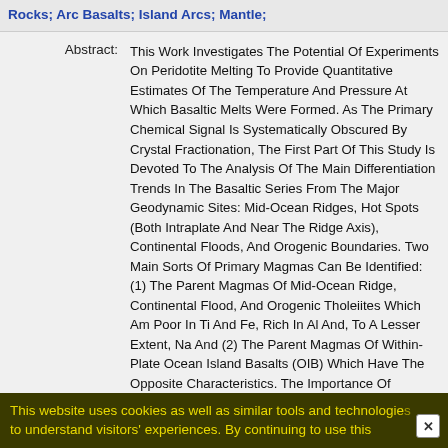Rocks; Arc Basalts; Island Arcs; Mantle;
Abstract: This Work Investigates The Potential Of Experiments On Peridotite Melting To Provide Quantitative Estimates Of The Temperature And Pressure At Which Basaltic Melts Were Formed. As The Primary Chemical Signal Is Systematically Obscured By Crystal Fractionation, The First Part Of This Study Is Devoted To The Analysis Of The Main Differentiation Trends In The Basaltic Series From The Major Geodynamic Sites: Mid-Ocean Ridges, Hot Spots (Both Intraplate And Near The Ridge Axis), Continental Floods, And Orogenic Boundaries. Two Main Sorts Of Primary Magmas Can Be Identified: (1) The Parent Magmas Of Mid-Ocean Ridge, Continental Flood, And Orogenic Tholeiites Which Am Poor In Ti And Fe, Rich In Al And, To A Lesser Extent, Na And (2) The Parent Magmas Of Within-Plate Ocean Island Basalts (OIB) Which Have The Opposite Characteristics. The Importance Of Plagioclase During Postmelting Fractionation Is Similar In The Different Geodynamic...
This website uses cookies as well as similar tools and technologies to understand visitors' experiences. By continuing to use this